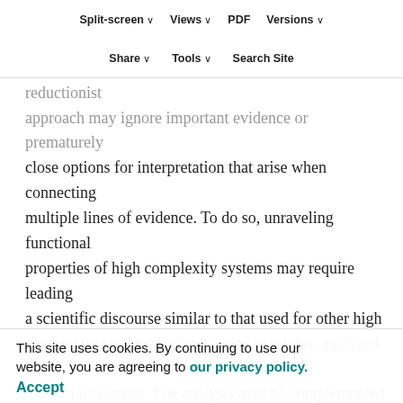Split-screen  Views  PDF  Versions  Share  Tools  Search Site
A specific risk for experimental research lies in narrowly focused interpretation around a limited set of data, collected in reductionist environments. A reductionist approach may ignore important evidence or prematurely close options for interpretation that arise when connecting multiple lines of evidence. To do so, unraveling functional properties of high complexity systems may require leading a scientific discourse similar to that used for other high complexity systems such as societal systems, analyzed by the social sciences. The analysis may be complemented by a consensus-building process similar to that characterizing assessments carried out by the Intergovernmental Panel on Climate Change (IPCC) and the Intergovernmental Platform on Biodiversity and Ecosystem Services (IPBES). An assessment evaluates the evidence and agreement on relevant findings and assigns a level of confidence to those
This site uses cookies. By continuing to use our website, you are agreeing to our privacy policy.
Accept